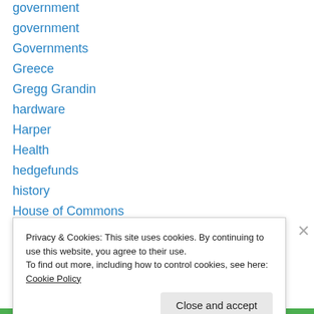government
government
Governments
Greece
Gregg Grandin
hardware
Harper
Health
hedgefunds
history
House of Commons
human emotions
human nature
Human Rights
Privacy & Cookies: This site uses cookies. By continuing to use this website, you agree to their use.
To find out more, including how to control cookies, see here: Cookie Policy
Close and accept